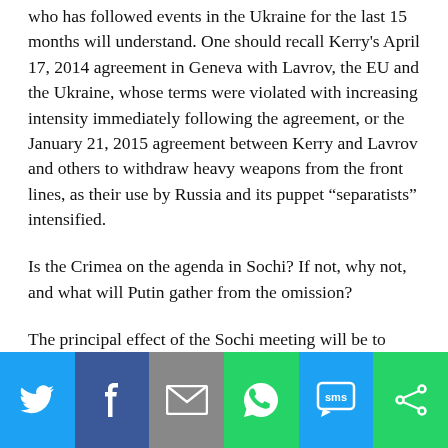who has followed events in the Ukraine for the last 15 months will understand. One should recall Kerry's April 17, 2014 agreement in Geneva with Lavrov, the EU and the Ukraine, whose terms were violated with increasing intensity immediately following the agreement, or the January 21, 2015 agreement between Kerry and Lavrov and others to withdraw heavy weapons from the front lines, as their use by Russia and its puppet “separatists” intensified.
Is the Crimea on the agenda in Sochi? If not, why not, and what will Putin gather from the omission?
The principal effect of the Sochi meeting will be to weaken Russia’s isolation from the West.
[Figure (infographic): Social sharing bar with buttons for Twitter, Facebook, Email, WhatsApp, SMS, and More (share) options]